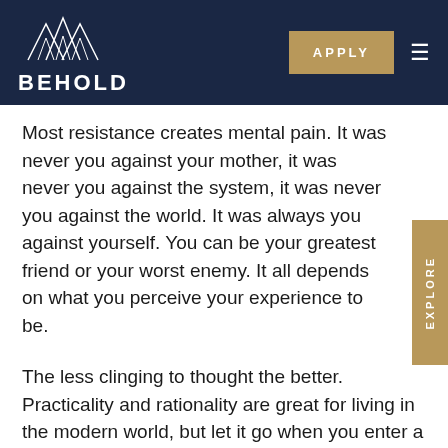BEHOLD — APPLY — Navigation menu
Most resistance creates mental pain. It was never you against your mother, it was never you against the system, it was never you against the world. It was always you against yourself. You can be your greatest friend or your worst enemy. It all depends on what you perceive your experience to be.
The less clinging to thought the better. Practicality and rationality are great for living in the modern world, but let it go when you enter a ceremony. Plant medicine is beyond the mind, beyond the